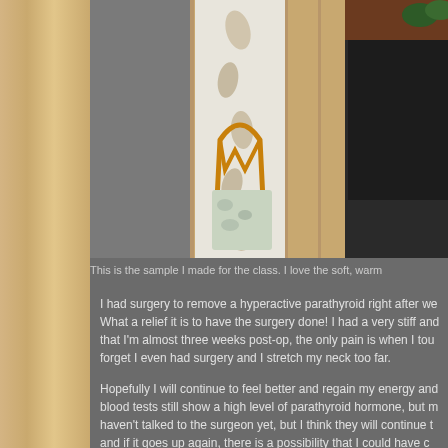[Figure (photo): Photo of a rattan chair with floral/leaf patterned cushion and quilt draped over it, next to a wooden cabinet with a speaker, against a wood-paneled wall with houseplants visible]
This is the sample I made for the class. I love the soft, warm
I had surgery to remove a hyperactive parathyroid right after we What a relief it is to have the surgery done! I had a very stiff and that I'm almost three weeks post-op, the only pain is when I tou forget I even had surgery and I stretch my neck too far.
Hopefully I will continue to feel better and regain my energy and blood tests still show a high level of parathyroid hormone, but m haven't talked to the surgeon yet, but I think they will continue t and if it goes up again, there is a possibility that I could have c